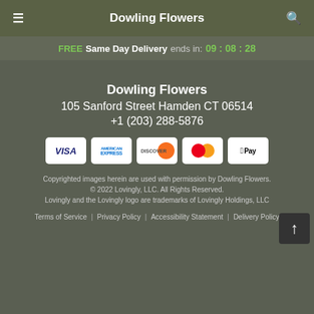Dowling Flowers
FREE Same Day Delivery ends in: 09 : 08 : 28
Dowling Flowers
105 Sanford Street Hamden CT 06514
+1 (203) 288-5876
[Figure (other): Payment method icons: VISA, American Express, Discover, Mastercard, Apple Pay]
Copyrighted images herein are used with permission by Dowling Flowers. © 2022 Lovingly, LLC. All Rights Reserved. Lovingly and the Lovingly logo are trademarks of Lovingly Holdings, LLC
Terms of Service | Privacy Policy | Accessibility Statement | Delivery Policy